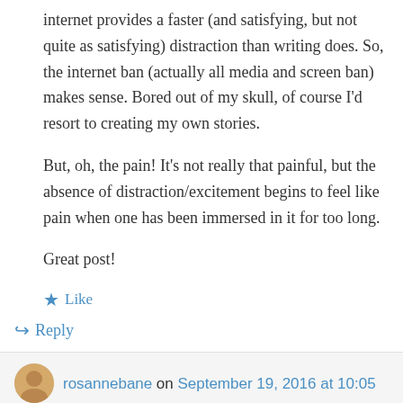internet provides a faster (and satisfying, but not quite as satisfying) distraction than writing does. So, the internet ban (actually all media and screen ban) makes sense. Bored out of my skull, of course I'd resort to creating my own stories.
But, oh, the pain! It's not really that painful, but the absence of distraction/excitement begins to feel like pain when one has been immersed in it for too long.
Great post!
Like
Reply
rosannebane on September 19, 2016 at 10:05